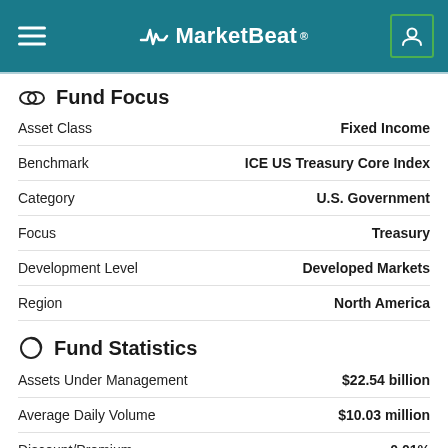MarketBeat
Fund Focus
|  |  |
| --- | --- |
| Asset Class | Fixed Income |
| Benchmark | ICE US Treasury Core Index |
| Category | U.S. Government |
| Focus | Treasury |
| Development Level | Developed Markets |
| Region | North America |
Fund Statistics
|  |  |
| --- | --- |
| Assets Under Management | $22.54 billion |
| Average Daily Volume | $10.03 million |
| Discount/Premium | 0.01% |
ETF Expenses
|  |  |
| --- | --- |
| Management Fee | 0.05% |
| Other Expenses | 0.00% |